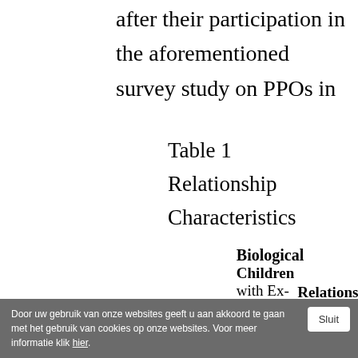after their participation in the aforementioned survey study on PPOs in
Table 1
Relationship Characteristics
| Participant | Biological Children with Ex-partner | Relationship Duration |
| --- | --- | --- |